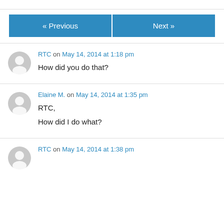« Previous    Next »
RTC on May 14, 2014 at 1:18 pm
How did you do that?
Elaine M. on May 14, 2014 at 1:35 pm
RTC,
How did I do what?
RTC on May 14, 2014 at 1:38 pm